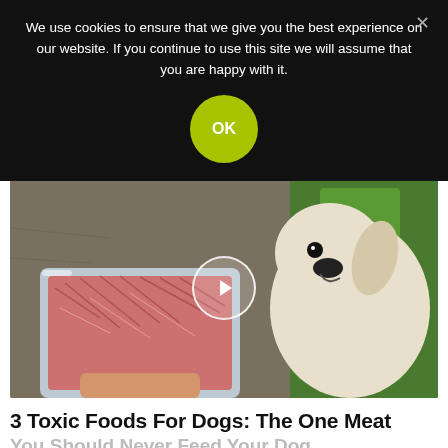We use cookies to ensure that we give you the best experience on our website. If you continue to use this site we will assume that you are happy with it.
OK
[Figure (photo): A golden retriever dog looking up eagerly while someone holds a clear tray of raw ground meat. A video play button is overlaid in the center of the image.]
3 Toxic Foods For Dogs: The One Meat You Should Never Feed Your Dog
🔥 5,539